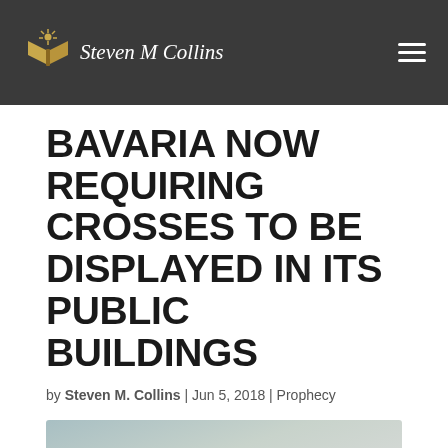Steven M Collins
BAVARIA NOW REQUIRING CROSSES TO BE DISPLAYED IN ITS PUBLIC BUILDINGS
by Steven M. Collins | Jun 5, 2018 | Prophecy
[Figure (photo): Partial photo of a cross mounted on a wall, partially visible at bottom of page]